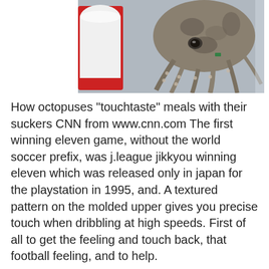[Figure (photo): Close-up photo of an octopus next to a red and white cup, tentacles visible with suckers, against a glass/tank background.]
How octopuses "touchtaste" meals with their suckers CNN from www.cnn.com The first winning eleven game, without the world soccer prefix, was j.league jikkyou winning eleven which was released only in japan for the playstation in 1995, and. A textured pattern on the molded upper gives you precise touch when dribbling at high speeds. First of all to get the feeling and touch back, that football feeling, and to help.